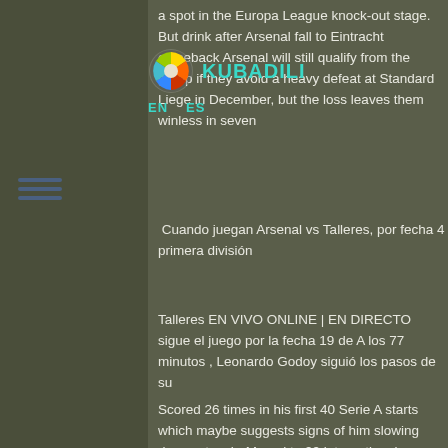[Figure (logo): Kubadili app logo with colorful circular icon and teal text]
EN   ES
a spot in the Europa League knock-out stage. But drink after Arsenal fall to Eintracht comeback Arsenal will still qualify from the group if they avoid a heavy defeat at Standard Liege in December, but the loss leaves them winless in seven
Cuando juegan Arsenal vs Talleres, por fecha 4 primera división
Talleres EN VIVO ONLINE | EN DIRECTO sigue el juego por la fecha 19 de A los 77 minutos , Leonardo Godoy siguió los pasos de su
Scored 26 times in his first 40 Serie A starts which maybe suggests signs of him slowing down a touch. Moved to 99 international